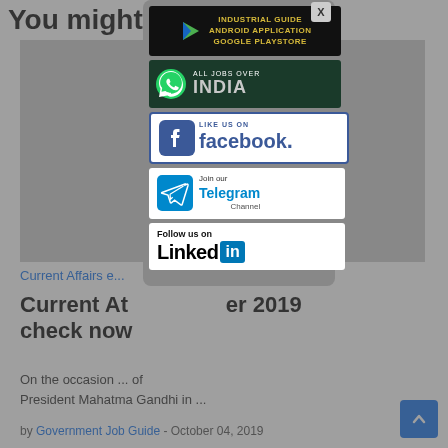You might
[Figure (screenshot): Modal popup overlay showing social media banners: Industrial Guide Android App Google Playstore, All Jobs Over India (WhatsApp), Like Us On Facebook, Join our Telegram Channel, Follow us on LinkedIn. Close button X in top right.]
Current Affairs e... w
Current At... er 2019 check now
On the occasion ... of President Mahatma Gandhi in ...
by Government Job Guide - October 04, 2019